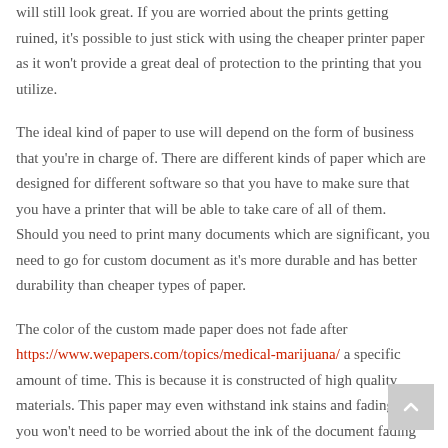will still look great. If you are worried about the prints getting ruined, it's possible to just stick with using the cheaper printer paper as it won't provide a great deal of protection to the printing that you utilize.
The ideal kind of paper to use will depend on the form of business that you're in charge of. There are different kinds of paper which are designed for different software so that you have to make sure that you have a printer that will be able to take care of all of them. Should you need to print many documents which are significant, you need to go for custom document as it's more durable and has better durability than cheaper types of paper.
The color of the custom made paper does not fade after https://www.wepapers.com/topics/medical-marijuana/ a specific amount of time. This is because it is constructed of high quality materials. This paper may even withstand ink stains and fading so you won't need to be worried about the ink of the document fading after a certain length of time.